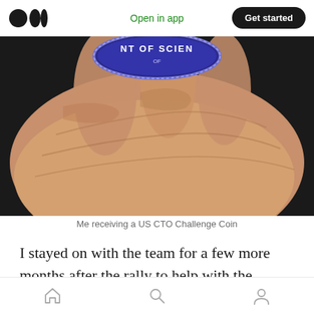Open in app  Get started
[Figure (photo): Close-up photo of a hand holding a blue US CTO Challenge Coin with text 'NT OF SCIEN' visible on the coin's edge]
Me receiving a US CTO Challenge Coin
I stayed on with the team for a few more months after the rally to help with the transition, and also to speak at a handful of conferences.
Home  Search  Profile